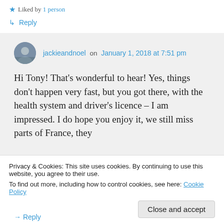★ Liked by 1 person
↳ Reply
jackieandnoel on January 1, 2018 at 7:51 pm
Hi Tony! That's wonderful to hear! Yes, things don't happen very fast, but you got there, with the health system and driver's licence – I am impressed. I do hope you enjoy it, we still miss parts of France, they
Privacy & Cookies: This site uses cookies. By continuing to use this website, you agree to their use.
To find out more, including how to control cookies, see here: Cookie Policy
Close and accept
→ Reply